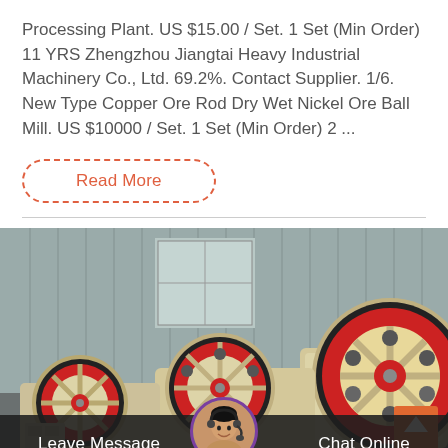Processing Plant. US $15.00 / Set. 1 Set (Min Order) 11 YRS Zhengzhou Jiangtai Heavy Industrial Machinery Co., Ltd. 69.2%. Contact Supplier. 1/6. New Type Copper Ore Rod Dry Wet Nickel Ore Ball Mill. US $10000 / Set. 1 Set (Min Order) 2 ...
Read More
[Figure (photo): Industrial ball mill machines with large red and black flywheels/wheels lined up in a factory or outdoor storage area. Machines are cream/beige colored with distinctive red-rimmed circular wheels. Metal corrugated wall visible in background.]
Leave Message
Chat Online